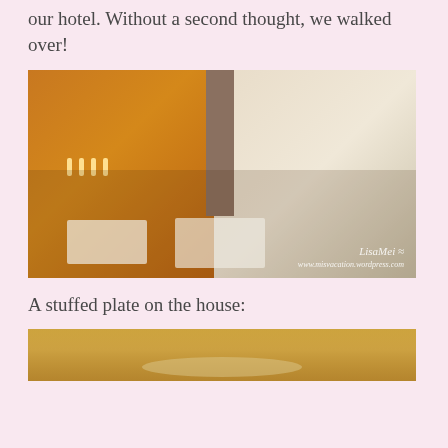our hotel. Without a second thought, we walked over!
[Figure (photo): Interior of a restaurant with white chairs and tables, warm orange-lit bar area on the left, bright natural light from windows on the right. Small purple flowers on tables. Watermark reads 'LisaMei www.misvacation.wordpress.com']
A stuffed plate on the house:
[Figure (photo): Close-up photo of a stuffed plate of food, partial view at bottom of page]